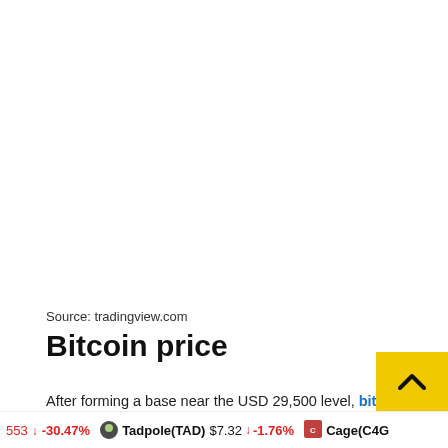Source: tradingview.com
Bitcoin price
After forming a base near the USD 29,500 level, bitcoin price was able to start a recovery wave. BTC even surpassed the USD 31,000 level. However, the bears seem to be protecting more gains above the USD 31,200 level. The next key
553 ↓ -30.47%   Tadpole(TAD) $7.32 ↓ -1.76%   Cage(C4G...